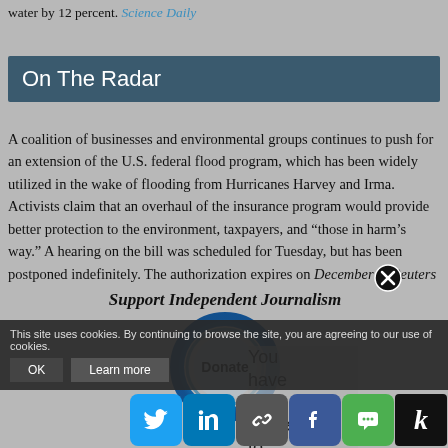water by 12 percent. Science Daily
On The Radar
A coalition of businesses and environmental groups continues to push for an extension of the U.S. federal flood program, which has been widely utilized in the wake of flooding from Hurricanes Harvey and Irma. Activists claim that an overhaul of the insurance program would provide better protection to the environment, taxpayers, and “those in harm’s way.” A hearing on the bill was scheduled for Tuesday, but has been postponed indefinitely. The authorization expires on December 8. Reuters
[Figure (infographic): Support Independent Journalism donate widget overlay with circular blue ring and Donate button, and close X button]
You have the power to inform th...
This site uses cookies. By continuing to browse the site, you are agreeing to our use of cookies.
OK
Learn more
[Figure (infographic): Social sharing icons bar: Twitter, LinkedIn, Link, Facebook, SMS, Kicker]